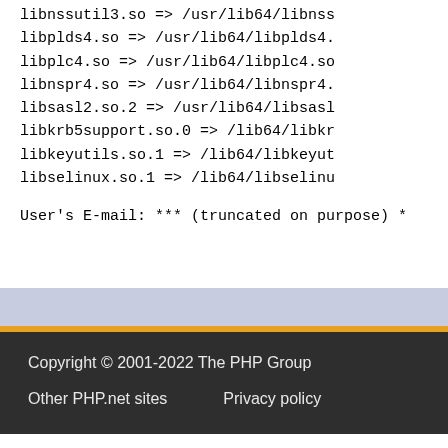libnssutil3.so => /usr/lib64/libnss
libplds4.so => /usr/lib64/libplds4.
libplc4.so => /usr/lib64/libplc4.so
libnspr4.so => /usr/lib64/libnspr4.
libsasl2.so.2 => /usr/lib64/libsasl
libkrb5support.so.0 => /lib64/libkr
libkeyutils.so.1 => /lib64/libkeyut
libselinux.so.1 => /lib64/libselinu
User's E-mail: *** (truncated on purpose) *
Copyright © 2001-2022 The PHP Group
Other PHP.net sites   Privacy policy